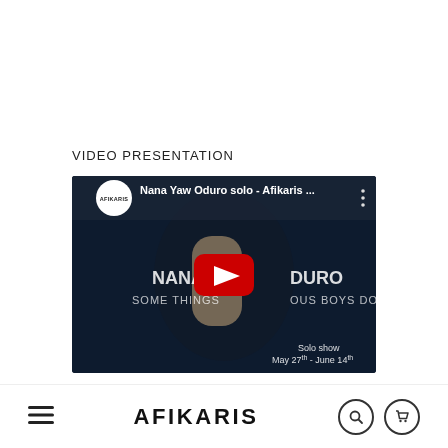VIDEO PRESENTATION
[Figure (screenshot): YouTube video thumbnail showing Nana Yaw Oduro solo - Afikaris gallery video. Dark background with a figure, text overlay reading 'NANA DURO SOME THINGS OUS BOYS DO', red YouTube play button in center, Afikaris logo circle top-left, Solo show May 27th - June 14th text bottom right, three-dot menu top right.]
≡   AFIKARIS   🔍   🛒